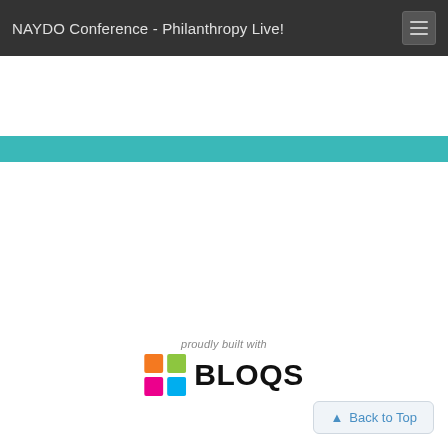NAYDO Conference - Philanthropy Live!
[Figure (other): Teal/cyan horizontal divider bar across the full width of the page]
[Figure (logo): Bloqs logo with colorful grid icon and text 'BLOQS', preceded by 'proudly built with' italic text]
Back to Top